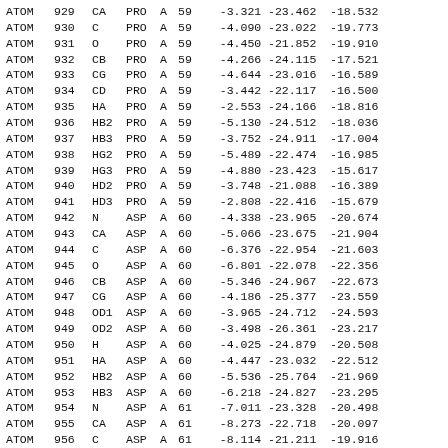| type | serial | name | res | chain | resSeq | x | y | z |  |
| --- | --- | --- | --- | --- | --- | --- | --- | --- | --- |
| ATOM | 929 | CA | PRO | A | 59 | -3.321 | -23.462 | -18.532 |  |
| ATOM | 930 | C | PRO | A | 59 | -4.090 | -23.022 | -19.773 |  |
| ATOM | 931 | O | PRO | A | 59 | -4.450 | -21.852 | -19.910 |  |
| ATOM | 932 | CB | PRO | A | 59 | -4.266 | -24.115 | -17.521 |  |
| ATOM | 933 | CG | PRO | A | 59 | -4.644 | -23.016 | -16.589 |  |
| ATOM | 934 | CD | PRO | A | 59 | -3.442 | -22.117 | -16.500 |  |
| ATOM | 935 | HA | PRO | A | 59 | -2.553 | -24.166 | -18.816 |  |
| ATOM | 936 | HB2 | PRO | A | 59 | -5.130 | -24.512 | -18.036 |  |
| ATOM | 937 | HB3 | PRO | A | 59 | -3.752 | -24.911 | -17.004 |  |
| ATOM | 938 | HG2 | PRO | A | 59 | -5.489 | -22.474 | -16.985 |  |
| ATOM | 939 | HG3 | PRO | A | 59 | -4.880 | -23.423 | -15.617 |  |
| ATOM | 940 | HD2 | PRO | A | 59 | -3.748 | -21.088 | -16.389 |  |
| ATOM | 941 | HD3 | PRO | A | 59 | -2.808 | -22.416 | -15.679 |  |
| ATOM | 942 | N | ASP | A | 60 | -4.338 | -23.965 | -20.674 |  |
| ATOM | 943 | CA | ASP | A | 60 | -5.066 | -23.675 | -21.904 |  |
| ATOM | 944 | C | ASP | A | 60 | -6.376 | -22.954 | -21.603 |  |
| ATOM | 945 | O | ASP | A | 60 | -6.801 | -22.078 | -22.356 |  |
| ATOM | 946 | CB | ASP | A | 60 | -5.346 | -24.967 | -22.673 |  |
| ATOM | 947 | CG | ASP | A | 60 | -4.186 | -25.377 | -23.559 |  |
| ATOM | 948 | OD1 | ASP | A | 60 | -3.965 | -24.712 | -24.593 |  |
| ATOM | 949 | OD2 | ASP | A | 60 | -3.498 | -26.361 | -23.217 |  |
| ATOM | 950 | H | ASP | A | 60 | -4.025 | -24.879 | -20.508 |  |
| ATOM | 951 | HA | ASP | A | 60 | -4.447 | -23.032 | -22.512 |  |
| ATOM | 952 | HB2 | ASP | A | 60 | -5.536 | -25.764 | -21.969 |  |
| ATOM | 953 | HB3 | ASP | A | 60 | -6.218 | -24.827 | -23.295 |  |
| ATOM | 954 | N | ASP | A | 61 | -7.011 | -23.328 | -20.498 |  |
| ATOM | 955 | CA | ASP | A | 61 | -8.273 | -22.718 | -20.097 |  |
| ATOM | 956 | C | ASP | A | 61 | -8.114 | -21.211 | -19.916 |  |
| ATOM | 957 | O | ASP | A | 61 | -9.026 | -20.441 | -20.217 |  |
| ATOM | 958 | CB | ASP | A | 61 | -8.780 | -23.349 | -18.799 |  |